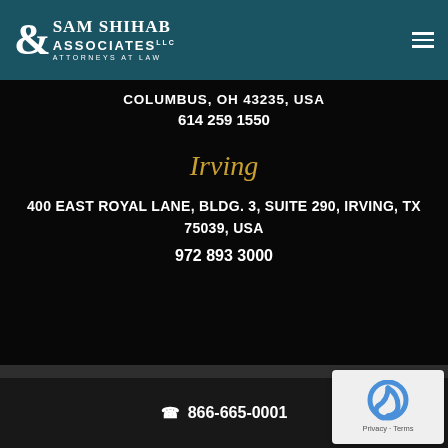Sam Shihab & Associates LLC - Attorneys at Law
COLUMBUS, OH 43235, USA
614 259 1550
Irving
400 EAST ROYAL LANE, BLDG. 3, SUITE 290, IRVING, TX 75039, USA
972 893 3000
866-665-0001